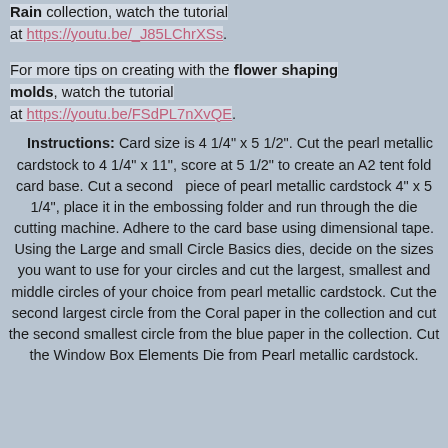Rain collection, watch the tutorial at https://youtu.be/_J85LChrXSs.
For more tips on creating with the flower shaping molds, watch the tutorial at https://youtu.be/FSdPL7nXvQE.
Instructions: Card size is 4 1/4" x 5 1/2". Cut the pearl metallic cardstock to 4 1/4" x 11", score at 5 1/2" to create an A2 tent fold card base. Cut a second piece of pearl metallic cardstock 4" x 5 1/4", place it in the embossing folder and run through the die cutting machine. Adhere to the card base using dimensional tape.
Using the Large and small Circle Basics dies, decide on the sizes you want to use for your circles and cut the largest, smallest and middle circles of your choice from pearl metallic cardstock. Cut the second largest circle from the Coral paper in the collection and cut the second smallest circle from the blue paper in the collection. Cut the Window Box Elements Die from Pearl metallic cardstock.